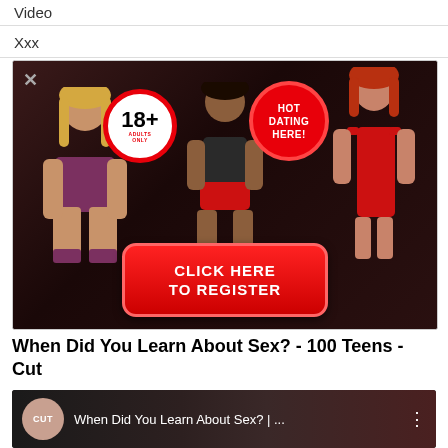Video
Xxx
[Figure (photo): Adult dating advertisement banner with 18+ badge, HOT DATING HERE badge, and CLICK HERE TO REGISTER button]
When Did You Learn About Sex? - 100 Teens - Cut
[Figure (screenshot): Video thumbnail for 'When Did You Learn About Sex? | ...' by Cut channel]